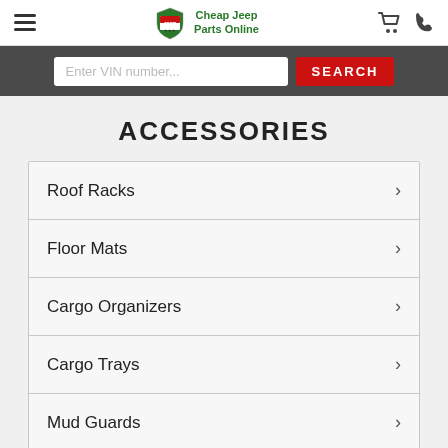Cheap Jeep Parts Online — navigation header with hamburger menu, logo, cart and phone icons
[Figure (screenshot): Search bar with Enter VIN number... input field and red SEARCH button on dark background]
ACCESSORIES
Roof Racks
Floor Mats
Cargo Organizers
Cargo Trays
Mud Guards